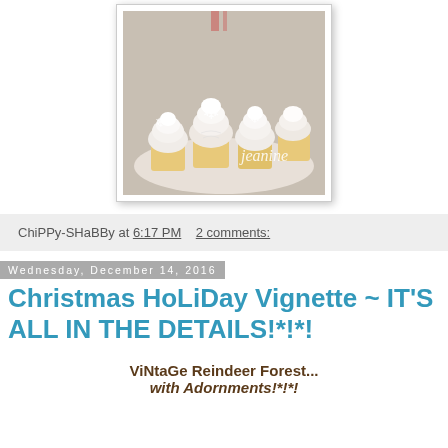[Figure (photo): Photo of white frosted cupcakes decorated with snowflakes on a white plate, with cursive text 'jeanine' overlaid, displayed in a white frame]
ChiPPy-SHaBBy at 6:17 PM   2 comments:
Wednesday, December 14, 2016
Christmas HoLiDay Vignette ~ IT'S ALL IN THE DETAILS!*!*!
ViNtaGe Reindeer Forest...
with Adornments!*!*!